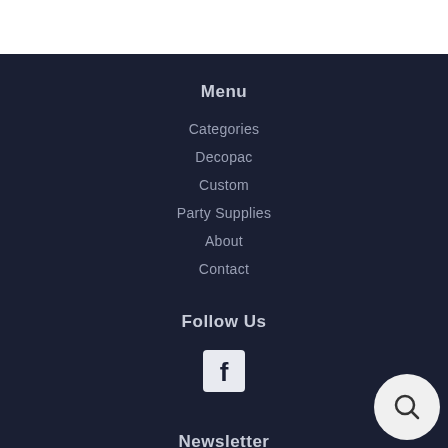Menu
Categories
Decopac
Custom
Party Supplies
About
Contact
Follow Us
[Figure (logo): Facebook logo icon - white F on dark square]
Newsletter
[Figure (other): Search icon in white circle bubble, bottom right corner]